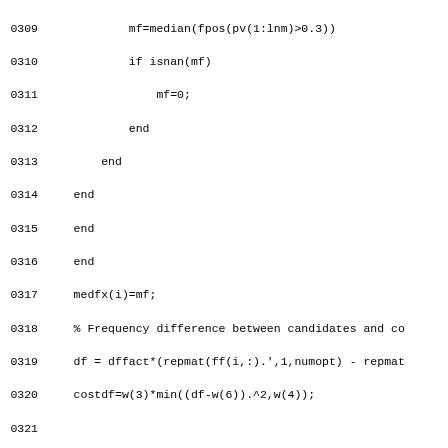[Figure (other): Source code listing (MATLAB) with line numbers 0309-0338, showing pitch tracking algorithm with median pitch computation, frequency difference cost calculation, and traceback initialization.]